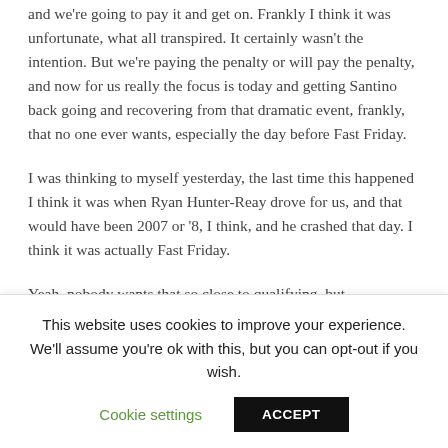and we're going to pay it and get on. Frankly I think it was unfortunate, what all transpired. It certainly wasn't the intention. But we're paying the penalty or will pay the penalty, and now for us really the focus is today and getting Santino back going and recovering from that dramatic event, frankly, that no one ever wants, especially the day before Fast Friday.
I was thinking to myself yesterday, the last time this happened I think it was when Ryan Hunter-Reay drove for us, and that would have been 2007 or '8, I think, and he crashed that day. I think it was actually Fast Friday.
Yeah, nobody wants that so close to qualifying, but
This website uses cookies to improve your experience. We'll assume you're ok with this, but you can opt-out if you wish.
Cookie settings
ACCEPT